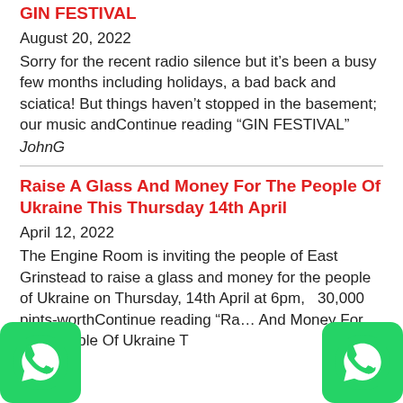GIN FESTIVAL
August 20, 2022
Sorry for the recent radio silence but it’s been a busy few months including holidays, a bad back and sciatica! But things haven’t stopped in the basement; our music andContinue reading "GIN FESTIVAL"
JohnG
Raise A Glass And Money For The People Of Ukraine This Thursday 14th April
April 12, 2022
The Engine Room is inviting the people of East Grinstead to raise a glass and money for the people of Ukraine on Thursday, 14th April at 6pm, 30,000 pints-worthContinue reading "Raise A Glass And Money For The People Of Ukraine T